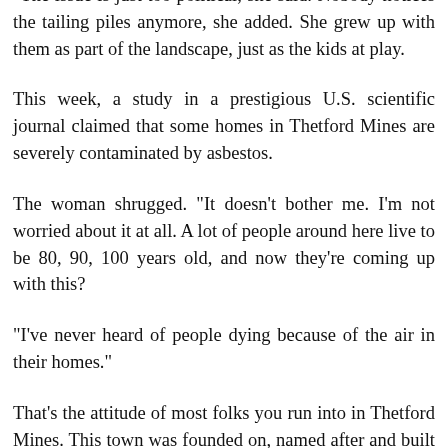"The issue is just too political, she said. Nobody notices the tailing piles anymore, she added. She grew up with them as part of the landscape, just as the kids at play.
This week, a study in a prestigious U.S. scientific journal claimed that some homes in Thetford Mines are severely contaminated by asbestos.
The woman shrugged. "It doesn't bother me. I'm not worried about it at all. A lot of people around here live to be 80, 90, 100 years old, and now they're coming up with this?
"I've never heard of people dying because of the air in their homes."
That's the attitude of most folks you run into in Thetford Mines. This town was founded on, named after and built around its asbestos mines. Yet townspeople here have learned not to use the word "asbestos" - and generally will correct you if you do.
The type of asbestos mined in Thetford Mines, called chrysotile, is not as deadly as its cousin amphibole, which